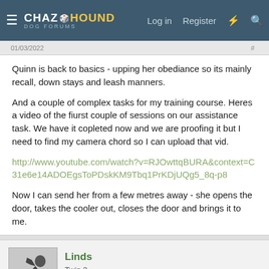ChaZHound Dog Forums — Log in | Register
Quinn is back to basics - upping her obediance so its mainly recall, down stays and leash manners.
And a couple of complex tasks for my training course. Heres a video of the fiurst couple of sessions on our assistance task. We have it copleted now and we are proofing it but I need to find my camera chord so I can upload that vid.
http://www.youtube.com/watch?v=RJOwttqBURA&context=C31e6e14ADOEgsToPDskKM9Tbq1PrKDjUQg5_8q-p8
Now I can send her from a few metres away - she opens the door, takes the cooler out, closes the door and brings it to me.
Linds
Twin 2